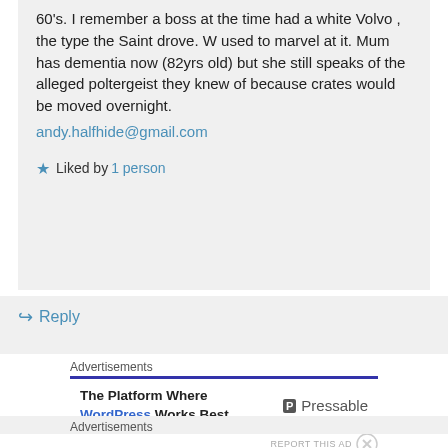60's. I remember a boss at the time had a white Volvo , the type the Saint drove. W used to marvel at it. Mum has dementia now (82yrs old) but she still speaks of the alleged poltergeist they knew of because crates would be moved overnight.
andy.halfhide@gmail.com
Liked by 1 person
Reply
Advertisements
The Platform Where WordPress Works Best   Pressable
REPORT THIS AD
Advertisements